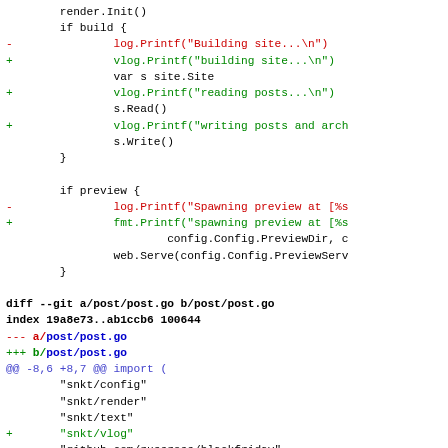Code diff showing changes to Go source files including post/post.go and main build/preview logic